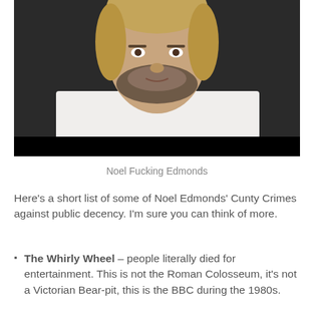[Figure (photo): Close-up photo of a middle-aged man with stubble beard, wearing a white shirt open at the collar, with a blurred dark background.]
Noel Fucking Edmonds
Here's a short list of some of Noel Edmonds' Cunty Crimes against public decency. I'm sure you can think of more.
The Whirly Wheel – people literally died for entertainment. This is not the Roman Colosseum, it's not a Victorian Bear-pit, this is the BBC during the 1980s.